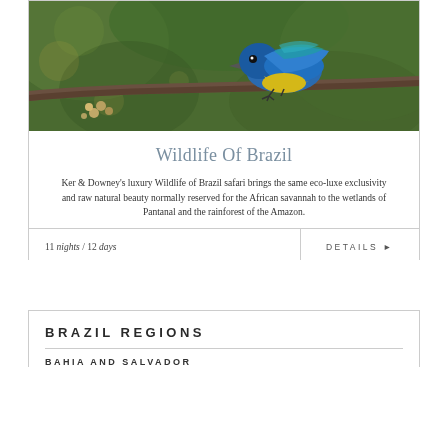[Figure (photo): Close-up photo of a colorful blue and yellow bird (tanager) perched on a branch with green bokeh background and small berries/buds visible]
Wildlife Of Brazil
Ker & Downey's luxury Wildlife of Brazil safari brings the same eco-luxe exclusivity and raw natural beauty normally reserved for the African savannah to the wetlands of Pantanal and the rainforest of the Amazon.
11 nights / 12 days
DETAILS ▶
BRAZIL REGIONS
BAHIA AND SALVADOR